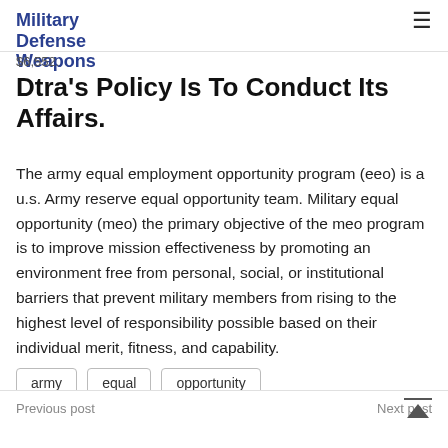Military Defense Weapons
$6,552.
Dtra's Policy Is To Conduct Its Affairs.
The army equal employment opportunity program (eeo) is a u.s. Army reserve equal opportunity team. Military equal opportunity (meo) the primary objective of the meo program is to improve mission effectiveness by promoting an environment free from personal, social, or institutional barriers that prevent military members from rising to the highest level of responsibility possible based on their individual merit, fitness, and capability.
army
equal
opportunity
Previous post
Next post